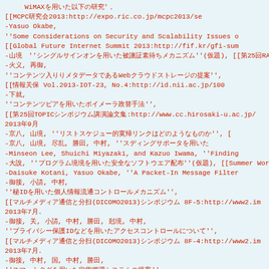WiMAX reference list and bibliography entries in Japanese and English mixed content, including conference proceedings, journal articles, and workshop papers from 2013.